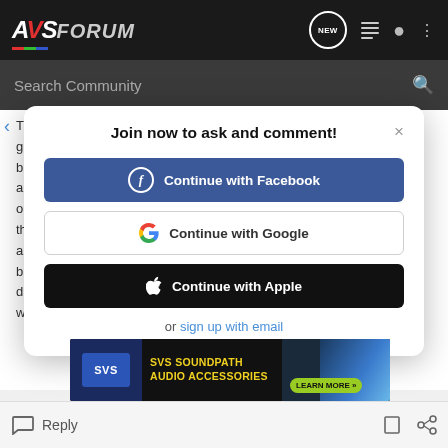AVS FORUM — navigation header with search
[Figure (screenshot): AVS Forum website header with logo, NEW button, list icon, user icon, and menu dots on dark background]
Search Community
T... e g... ill b... a... o... th... a... l b... al d... w...
Join now to ask and comment!
Continue with Facebook
Continue with Google
Continue with Apple
or sign up with email
Reply | SVS SOUNDPATH AUDIO ACCESSORIES — LEARN MORE >>